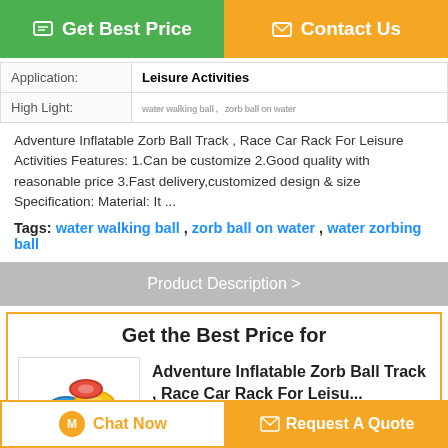Get Best Price
Contact Us
| Application: | Leisure Activities |
| --- | --- |
| High Light: | water walking ball , zorb ball on water |
Adventure Inflatable Zorb Ball Track , Race Car Rack For Leisure Activities Features: 1.Can be customize 2.Good quality with reasonable price 3.Fast delivery,customized design & size Specification: Material: It ...
Tags: water walking ball , zorb ball on water , water zorbing ball
Product Description >
Get the Best Price for
Adventure Inflatable Zorb Ball Track , Race Car Rack For Leisu...
MOQ：1
Chat Now
Request A Quote